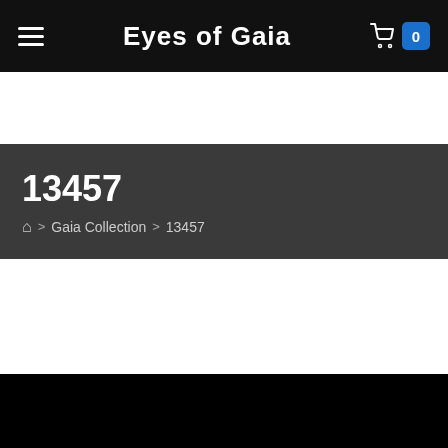Eyes of Gaia
13457
🏠 > Gaia Collection > 13457
[Figure (photo): Close-up macro photograph of a human iris (eye), showing detailed textures of the iris in blue-grey and amber tones against a black background. Only the upper half of the eye is visible, with a large dark pupil at center bottom. A red circular scroll-up button with a white upward arrow overlays the bottom-right of the image.]